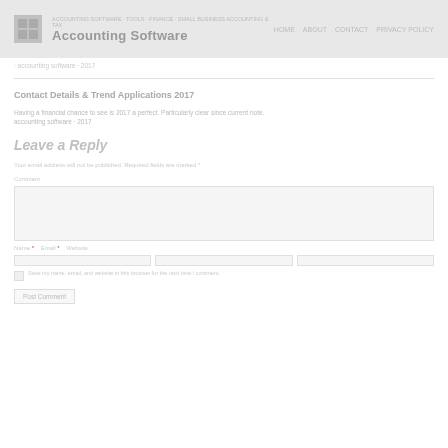Accounting Software
Accounting Software · 2017
Contact Details & Trend Applications 2017
Having a financial chance to see is 2017 a perfect. Particularly clear since current note.
Leave a Reply
Your email address will not be published. Required fields are marked *
Comment
Name * Email * Website
Save my name, email, and website in this browser for the next time I comment.
Post Comment